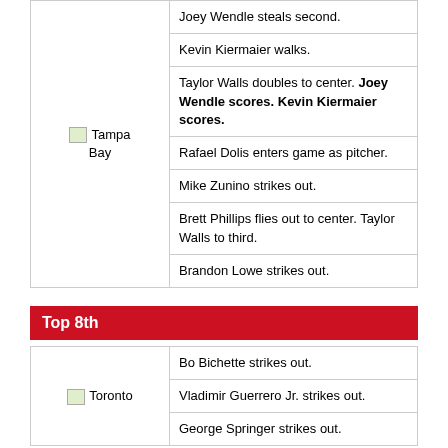| Team | Play |
| --- | --- |
| Tampa Bay | Joey Wendle steals second. |
| Tampa Bay | Kevin Kiermaier walks. |
| Tampa Bay | Taylor Walls doubles to center. Joey Wendle scores. Kevin Kiermaier scores. |
| Tampa Bay | Rafael Dolis enters game as pitcher. |
| Tampa Bay | Mike Zunino strikes out. |
| Tampa Bay | Brett Phillips flies out to center. Taylor Walls to third. |
| Tampa Bay | Brandon Lowe strikes out. |
Top 8th
| Team | Play |
| --- | --- |
| Toronto | Bo Bichette strikes out. |
| Toronto | Vladimir Guerrero Jr. strikes out. |
| Toronto | George Springer strikes out. |
Bottom 8th